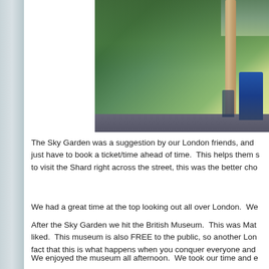[Figure (photo): Photo of people in the Sky Garden, showing lush green tropical plants, a tall pale tree trunk, and visitors standing among the garden foliage]
The Sky Garden was a suggestion by our London friends, and just have to book a ticket/time ahead of time.  This helps them s to visit the Shard right across the street, this was the better cho
We had a great time at the top looking out all over London.  We
After the Sky Garden we hit the British Museum.  This was Mat liked.  This museum is also FREE to the public, so another Lon fact that this is what happens when you conquer everyone and
We enjoyed the museum all afternoon.  We took our time and e